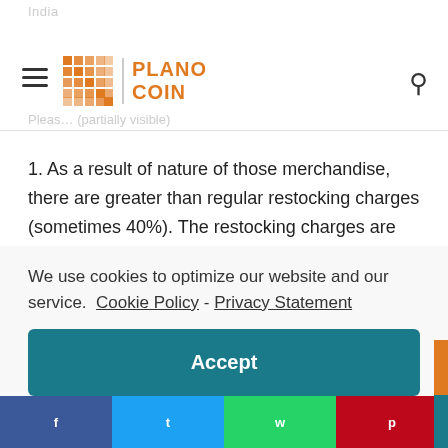India
[Figure (logo): Plano Coin logo with orange grid icon and divider bar]
Please (partially visible text)
1. As a result of nature of those merchandise, there are greater than regular restocking charges (sometimes 40%). The restocking charges are sometimes waived inside the occasion that there’s a demonstrable failure throughout the first 30 days and the guarantee has not been voided by overclocking. Within the occasion that you just expertise a
We use cookies to optimize our website and our service.  Cookie Policy - Privacy Statement
Accept